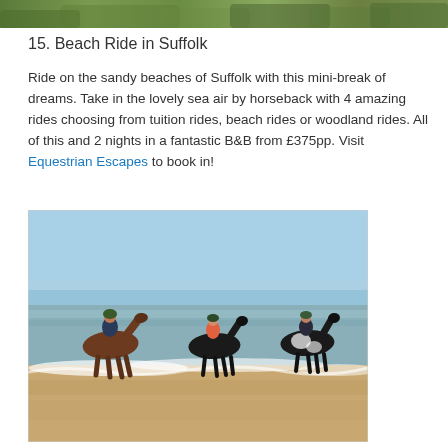[Figure (photo): Partial top image cropped at top of page, showing outdoor/nature scene]
15. Beach Ride in Suffolk
Ride on the sandy beaches of Suffolk with this mini-break of dreams. Take in the lovely sea air by horseback with 4 amazing rides choosing from tuition rides, beach rides or woodland rides. All of this and 2 nights in a fantastic B&B from £375pp. Visit Equestrian Escapes to book in!
[Figure (photo): Three horse riders on horseback walking along the shoreline of a sandy beach, with blue sky and calm sea in the background]